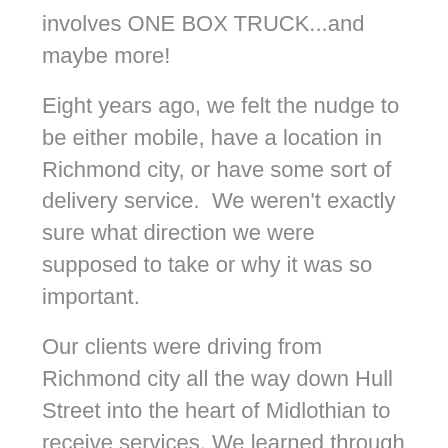involves ONE BOX TRUCK...and maybe more!
Eight years ago, we felt the nudge to be either mobile, have a location in Richmond city, or have some sort of delivery service.  We weren't exactly sure what direction we were supposed to take or why it was so important.
Our clients were driving from Richmond city all the way down Hull Street into the heart of Midlothian to receive services. We learned through their testimonies that transportation was a huge